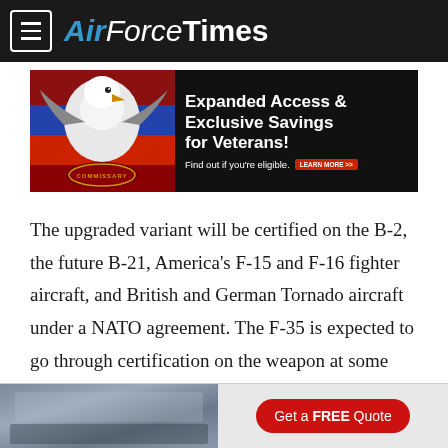AirForceTimes
[Figure (infographic): Commissary advertisement banner: bald eagle with American flag background, text 'Expanded Access & Exclusive Savings for Veterans! Find out if you're eligible. LEARN MORE >>']
The upgraded variant will be certified on the B-2, the future B-21, America's F-15 and F-16 fighter aircraft, and British and German Tornado aircraft under a NATO agreement. The F-35 is expected to go through certification on the weapon at some point in the next decade.
[Figure (infographic): Advertisement showing kitchen interior with red button 'Get a FREE Quote']